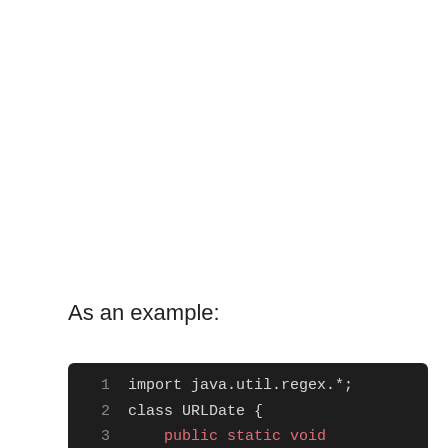As an example:
[Figure (screenshot): Dark-themed code editor showing Java code snippet with syntax highlighting. Lines: 1: import java.util.regex.*; 2: class URLDate { 3: public static void (in red/pink) 4: main(String args) { (main in green)]